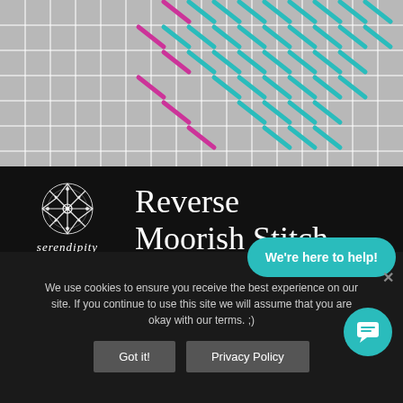[Figure (illustration): Decorative needlework graphic showing a grey grid background with diagonal stitches in teal/cyan and magenta/pink colors arranged in a diagonal pattern, representing the Moorish stitch pattern.]
[Figure (logo): Serendipity Needleworks logo: white snowflake/mandala-like circular design above the text 'serendipity' in italic serif and 'NEEDLEWORKS' in small caps, on black background, alongside the title 'Reverse Moorish Stitch' in large white serif font.]
I'm using Watercolours to work the Moorish stitch.
We use cookies to ensure you receive the best experience on our site. If you continue to use this site we will assume that you are okay with our terms. ;)
Got it!
Privacy Policy
We're here to help!